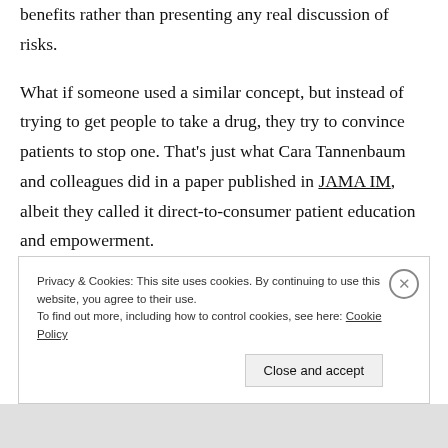benefits rather than presenting any real discussion of risks.
What if someone used a similar concept, but instead of trying to get people to take a drug, they try to convince patients to stop one. That's just what Cara Tannenbaum and colleagues did in a paper published in JAMA IM, albeit they called it direct-to-consumer patient education and empowerment.
Privacy & Cookies: This site uses cookies. By continuing to use this website, you agree to their use.
To find out more, including how to control cookies, see here: Cookie Policy
Close and accept